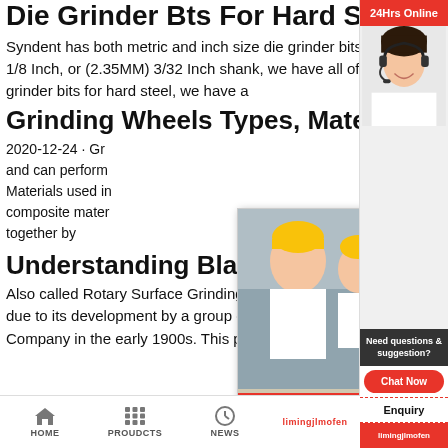Die Grinder Bts For Hard Steel, Grinding All Hardened ...
Syndent has both metric and inch size die grinder bits for hard steel. Whenever you need (6MM) 1/4 Inch, (3MM) 1/8 Inch, or (2.35MM) 3/32 Inch shank, we have all of them in our stock. Also, concerning the diameter of die grinder bits for hard steel, we have a
Grinding Wheels Types, Material & Specifications ...
2020-12-24 · Gr... and can perform... Materials used in... composite mater... together by
[Figure (photo): Live Chat popup overlay with workers in hard hats on left, LIVE CHAT text and buttons in center, customer service agent on right]
Understanding Blanchard And Precis...
Also called Rotary Surface Grinding, Blanchard grind... due to its development by a group called the Blanch... Company in the early 1900s. This process, which wa...
[Figure (infographic): Right sidebar with 24Hrs Online, chat agent photo, Need questions & suggestion, Chat Now button, Enquiry, limingjlmofen]
HOME    PROUDCTS    NEWS    limingjlmofen